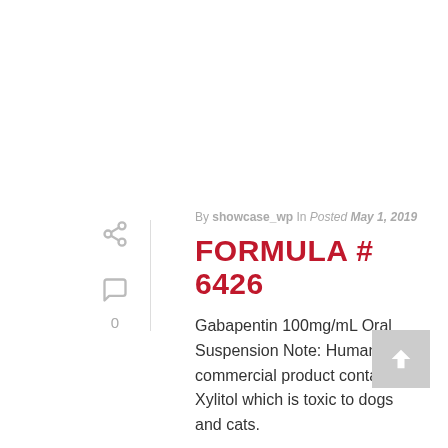By showcase_wp In Posted May 1, 2019
FORMULA # 6426
Gabapentin 100mg/mL Oral Suspension Note: Human commercial product contains Xylitol which is toxic to dogs and cats.
READ MORE